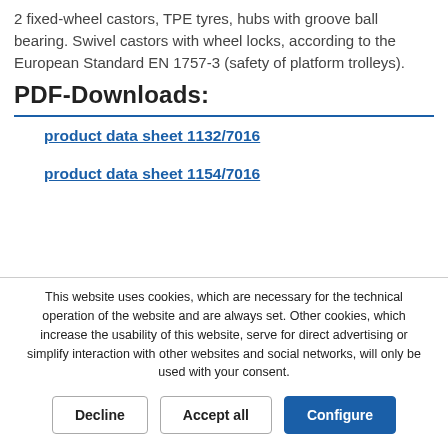2 fixed-wheel castors, TPE tyres, hubs with groove ball bearing. Swivel castors with wheel locks, according to the European Standard EN 1757-3 (safety of platform trolleys).
PDF-Downloads:
product data sheet 1132/7016
product data sheet 1154/7016
This website uses cookies, which are necessary for the technical operation of the website and are always set. Other cookies, which increase the usability of this website, serve for direct advertising or simplify interaction with other websites and social networks, will only be used with your consent.
Decline | Accept all | Configure